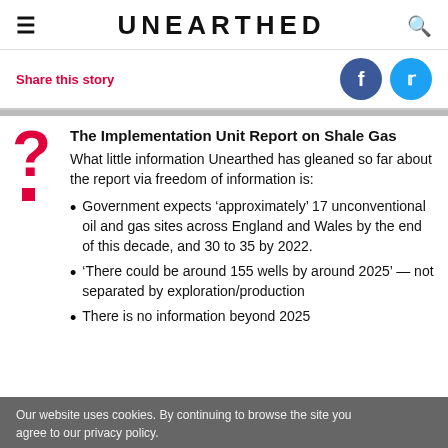UNEARTHED
Share this story
The Implementation Unit Report on Shale Gas
What little information Unearthed has gleaned so far about the report via freedom of information is:
Government expects ‘approximately’ 17 unconventional oil and gas sites across England and Wales by the end of this decade, and 30 to 35 by 2022.
‘There could be around 155 wells by around 2025’ — not separated by exploration/production
There is no information beyond 2025
Our website uses cookies. By continuing to browse the site you agree to our privacy policy.